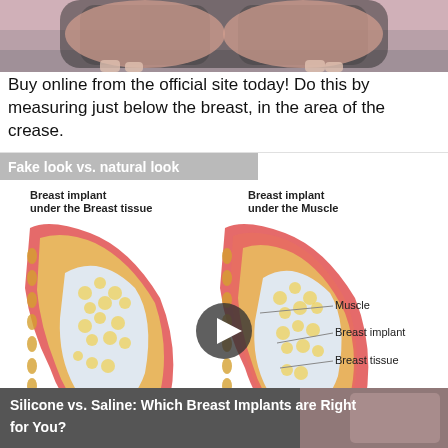[Figure (photo): Top portion showing a person in a black bra, partially cropped]
Buy online from the official site today! Do this by measuring just below the breast, in the area of the crease.
[Figure (illustration): Medical diagram comparing 'Fake look vs. natural look' showing breast implant placement under breast tissue vs under the muscle, with labeled anatomy (Muscle, Breast implant, Breast tissue, Ribs). A video play button overlay is visible in the center.]
After creating a realistic 3D rendering of your body, we can plug in different breast implant shapes, sizes, and options so you can see your results before surgery.
[Figure (photo): Bottom banner thumbnail with text 'Silicone vs. Saline: Which Breast Implants are Right for You?' and a partially visible person's face]